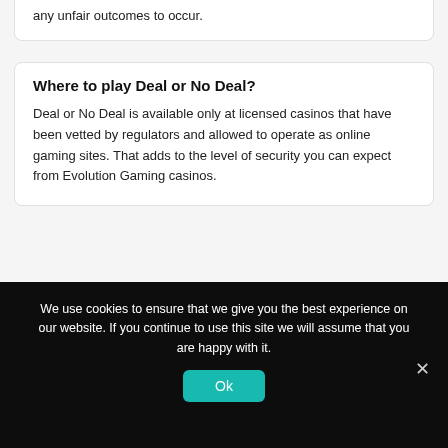any unfair outcomes to occur.
Where to play Deal or No Deal?
Deal or No Deal is available only at licensed casinos that have been vetted by regulators and allowed to operate as online gaming sites. That adds to the level of security you can expect from Evolution Gaming casinos.
How does Deal or No Deal work?
We use cookies to ensure that we give you the best experience on our website. If you continue to use this site we will assume that you are happy with it.